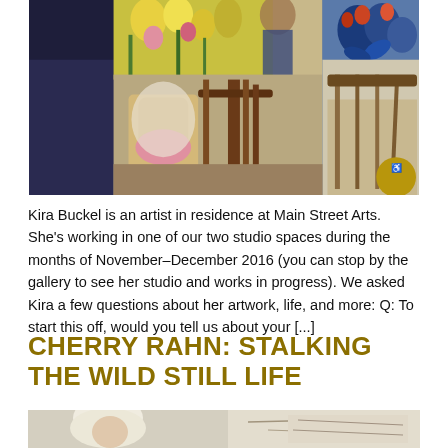[Figure (photo): Colorful interior painting showing chairs, flowers, and room decor, artist studio scene]
Kira Buckel is an artist in residence at Main Street Arts. She's working in one of our two studio spaces during the months of November–December 2016 (you can stop by the gallery to see her studio and works in progress). We asked Kira a few questions about her artwork, life, and more: Q: To start this off, would you tell us about your [...]
CHERRY RAHN: STALKING THE WILD STILL LIFE
[Figure (photo): Partial photo showing an elderly person with white hair and artwork in background]